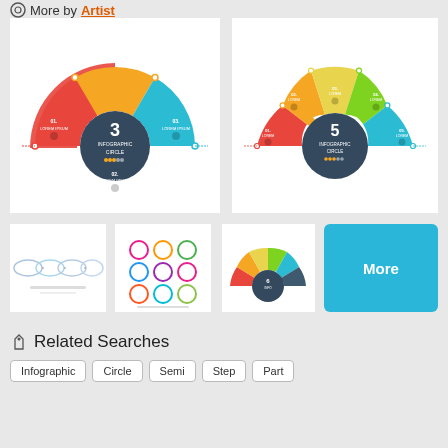More by Artist
[Figure (infographic): Semicircle infographic with 3 colored segments (red, orange, teal) around a dark circular center labeled '3 INFOGRAPHIC CIRCLE']
[Figure (infographic): Semicircle infographic with 5 colored segments (red, orange, yellow, green, teal) around a dark circular center labeled '5 INFOGRAPHIC CIRCLE']
[Figure (infographic): Small thumbnail with oval/pill shaped process steps in blue tones]
[Figure (infographic): Small thumbnail with colorful circles arranged in a grid pattern]
[Figure (infographic): Small thumbnail with semicircle infographic with 6 segments]
More
Related Searches
Infographic
Circle
Semi
Step
Part